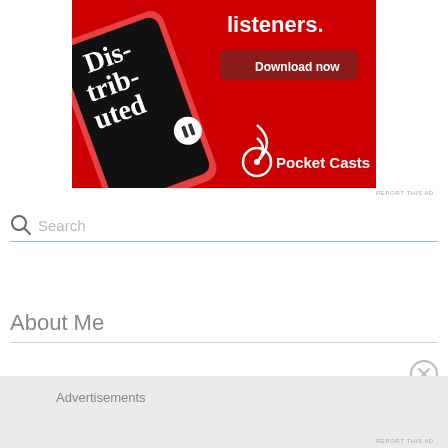[Figure (screenshot): Pocket Casts app advertisement on red background showing a smartphone with the app open, text 'Distributed' on phone screen, 'listeners.' in white bold text, 'Download now' button, and Pocket Casts logo at bottom right]
REPORT THIS AD
Search
About Me
Advertisements
REPORT THIS AD